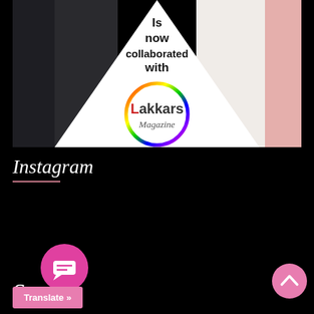[Figure (illustration): Banner image showing 'Is now collaborated with Lakkars Magazine' text over a white diamond/triangle shape, with dark fabric on the left and red sewing materials on the right. A rainbow-bordered circle contains the Lakkars Magazine logo.]
Instagram
S...y
[Figure (other): Pink circular chat bubble icon]
[Figure (other): Translate button overlay: 'Translate »']
[Figure (other): Pink circular scroll-to-top button with upward chevron arrow]